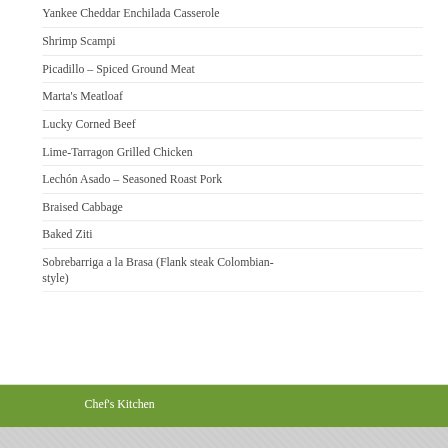Yankee Cheddar Enchilada Casserole
Shrimp Scampi
Picadillo – Spiced Ground Meat
Marta's Meatloaf
Lucky Corned Beef
Lime-Tarragon Grilled Chicken
Lechón Asado – Seasoned Roast Pork
Braised Cabbage
Baked Ziti
Sobrebarriga a la Brasa (Flank steak Colombian-style)
Chef's Kitchen